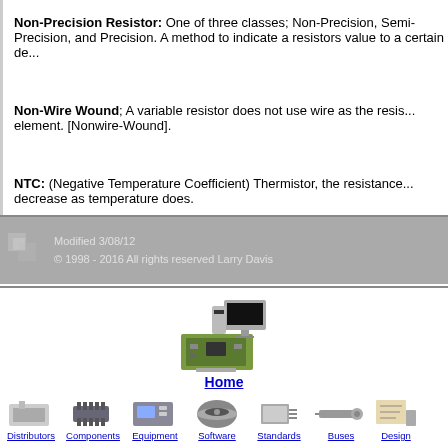Non-Precision Resistor: One of three classes; Non-Precision, Semi-Precision, and Precision. A method to indicate a resistors value to a certain degree.
Non-Wire Wound; A variable resistor does not use wire as the resistive element. [Nonwire-Wound].
NTC: (Negative Temperature Coefficient) Thermistor, the resistance will decrease as temperature does.
Modified 3/08/12
© 1998 - 2016 All rights reserved Larry Davis
[Figure (illustration): Computer/electronics workstation illustration used as Home navigation icon]
Home
[Figure (illustration): Navigation icons for Distributors, Components, Equipment, Software, Standards, Buses, Design categories]